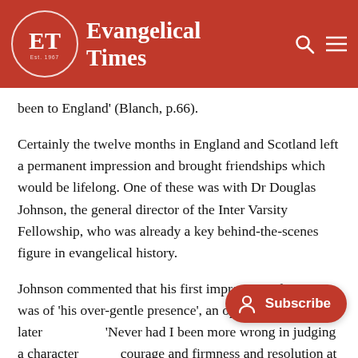Evangelical Times
been to England' (Blanch, p.66).
Certainly the twelve months in England and Scotland left a permanent impression and brought friendships which would be lifelong. One of these was with Dr Douglas Johnson, the general director of the Inter Varsity Fellowship, who was already a key behind-the-scenes figure in evangelical history.
Johnson commented that his first impression of Loane was of 'his over-gentle presence', an opinion later … 'Never had I been more wrong in judging a character … courage and firmness and resolution at each point in his increasingly responsible positions' (Blanch, p.374).